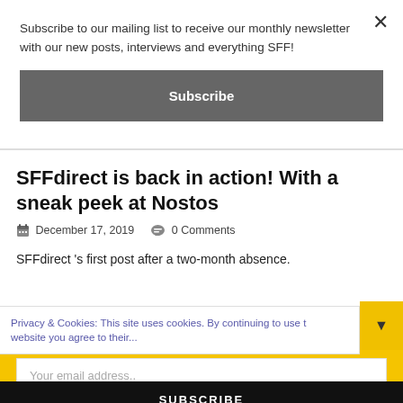Subscribe to our mailing list to receive our monthly newsletter with our new posts, interviews and everything SFF!
Subscribe
SFFdirect is back in action! With a sneak peek at Nostos
December 17, 2019   0 Comments
SFFdirect 's first post after a two-month absence.
Privacy & Cookies: This site uses cookies. By continuing to use t... website you agree to their...
Sign-up for our monthly newsletter!
Your email address..
SUBSCRIBE